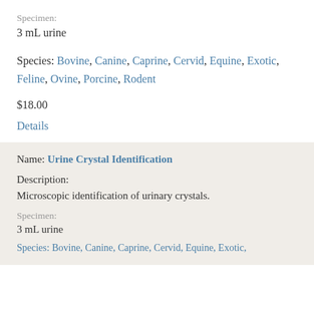Specimen:
3 mL urine
Species: Bovine, Canine, Caprine, Cervid, Equine, Exotic, Feline, Ovine, Porcine, Rodent
$18.00
Details
Name: Urine Crystal Identification
Description:
Microscopic identification of urinary crystals.
Specimen:
3 mL urine
Species: Bovine, Canine, Caprine, Cervid, Equine, Exotic,